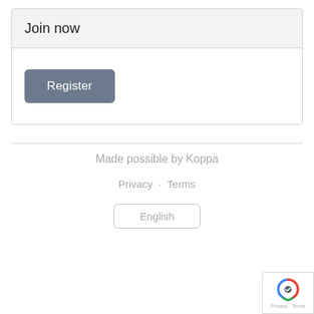Join now
[Figure (screenshot): Register button - a rounded rectangle button with dark grey/slate background and white text reading 'Register']
Made possible by Koppa
Privacy · Terms
English
[Figure (logo): Google reCAPTCHA badge in bottom right corner showing reCAPTCHA logo and 'Privacy · Terms' text]